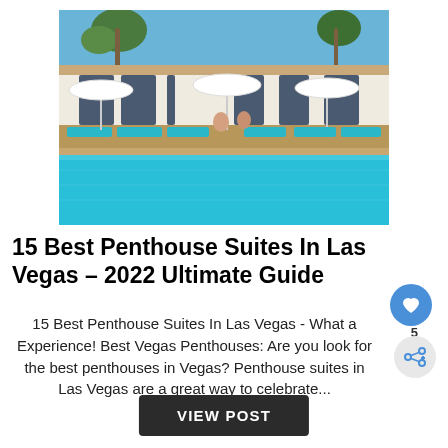[Figure (photo): Luxury hotel pool area with teal lounge chairs, white umbrellas, and a white building with curtained archways in the background. Two people are seated by the pool under umbrellas on a sunny day.]
15 Best Penthouse Suites In Las Vegas – 2022 Ultimate Guide
15 Best Penthouse Suites In Las Vegas - What a Experience! Best Vegas Penthouses: Are you look for the best penthouses in Vegas? Penthouse suites in Las Vegas are a great way to celebrate...